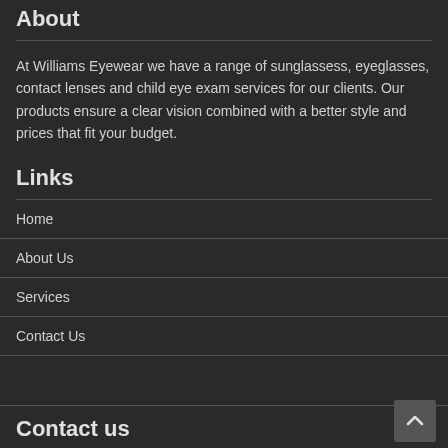About
At Williams Eyewear we have a range of sunglassess, eyeglasses, contact lenses and child eye exam services for our clients. Our products ensure a clear vision combined with a better style and prices that fit your budget.
Links
Home
About Us
Services
Contact Us
Contact us